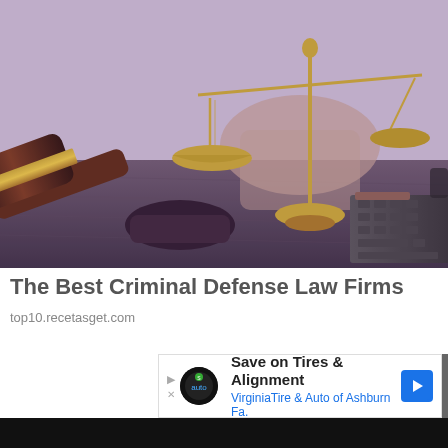[Figure (photo): Photo of a judge's gavel on the left side and a gold balance of justice scales in the center on a dark wooden desk, with a laptop keyboard visible on the right and a person's hands in the background]
The Best Criminal Defense Law Firms
top10.recetasget.com
[Figure (infographic): Advertisement banner: Save on Tires & Alignment - VirginiaTire & Auto of Ashburn Fa. with auto service logo and blue arrow]